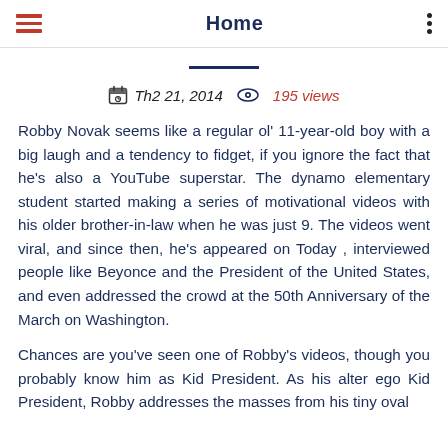Home
Th2 21, 2014   195 views
Robby Novak seems like a regular ol' 11-year-old boy with a big laugh and a tendency to fidget, if you ignore the fact that he's also a YouTube superstar. The dynamo elementary student started making a series of motivational videos with his older brother-in-law when he was just 9. The videos went viral, and since then, he's appeared on Today , interviewed people like Beyonce and the President of the United States, and even addressed the crowd at the 50th Anniversary of the March on Washington.
Chances are you've seen one of Robby's videos, though you probably know him as Kid President. As his alter ego Kid President, Robby addresses the masses from his tiny oval